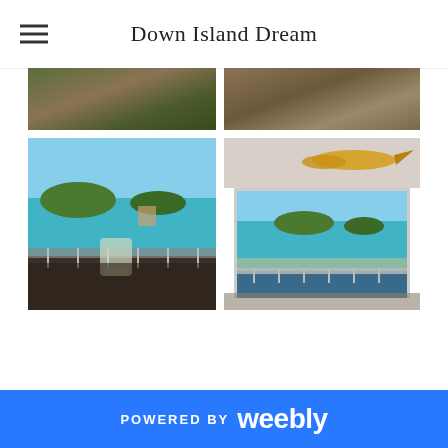Down Island Dream
[Figure (photo): Top-left photo partially cropped showing foliage and tropical scene]
[Figure (photo): Top-right photo partially cropped showing cat or animal on sandy/rocky ground]
[Figure (photo): Bottom-left photo showing balcony view with turquoise ocean, green islands, and a glass on a table]
[Figure (photo): Bottom-right photo showing interior with mounted fish on ceiling and balcony view of turquoise ocean and islands]
POWERED BY weebly